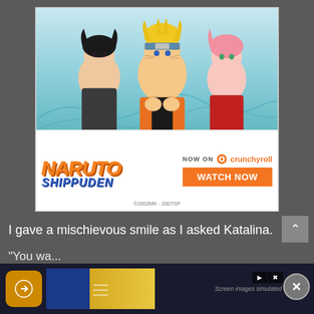[Figure (illustration): Naruto Shippuden advertisement banner showing anime characters Sasuke, Naruto, and Sakura. Bottom section has the Naruto Shippuden logo, 'NOW ON crunchyroll' text, and a 'WATCH NOW' orange button. Copyright line '©2002MK - 2007SP' at bottom.]
I gave a mischievous smile as I asked Katalina.
" ... Do you really need me to say it?"
"You wa..."
" ..."
[Figure (illustration): Bottom advertisement bar with dark background, orange icon with arrow logo, yellow/blue image panel, 'Screen images simulated' text, navigation arrows, and close X button]